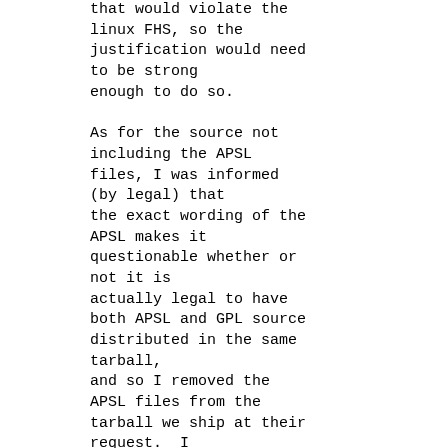that would violate the linux FHS, so the justification would need to be strong enough to do so.

As for the source not including the APSL files, I was informed (by legal) that the exact wording of the APSL makes it questionable whether or not it is actually legal to have both APSL and GPL source distributed in the same tarball, and so I removed the APSL files from the tarball we ship at their request.  I don't really know enough about the legal stuff to comment on whether or not that's right, so I can't argue the correctness of the action, I was just doing what I was told.